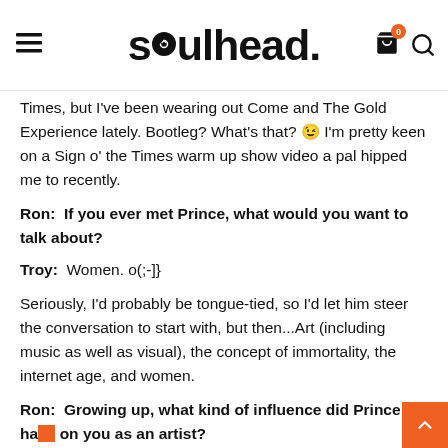soulhead
Times, but I've been wearing out Come and The Gold Experience lately. Bootleg? What's that? 😉 I'm pretty keen on a Sign o' the Times warm up show video a pal hipped me to recently.
Ron:  If you ever met Prince, what would you want to talk about?
Troy:  Women. o(;-]}
Seriously, I'd probably be tongue-tied, so I'd let him steer the conversation to start with, but then...Art (including music as well as visual), the concept of immortality, the internet age, and women.
Ron:  Growing up, what kind of influence did Prince have on you as an artist?